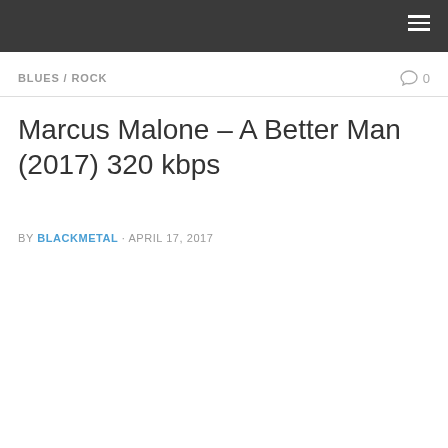BLUES / ROCK
Marcus Malone – A Better Man (2017) 320 kbps
BY BLACKMETAL · APRIL 17, 2017